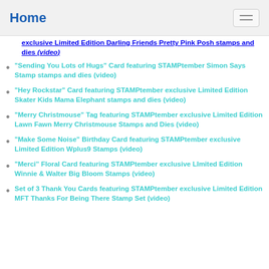Home
exclusive Limited Edition Darling Friends Pretty Pink Posh stamps and dies (video)
"Sending You Lots of Hugs" Card featuring STAMPtember Simon Says Stamp stamps and dies (video)
"Hey Rockstar" Card featuring STAMPtember exclusive Limited Edition Skater Kids Mama Elephant stamps and dies (video)
"Merry Christmouse" Tag featuring STAMPtember exclusive Limited Edition Lawn Fawn Merry Christmouse Stamps and Dies (video)
"Make Some Noise" Birthday Card featuring STAMPtember exclusive Limited Edition Wplus9 Stamps (video)
"Merci" Floral Card featuring STAMPtember exclusive LImited Edition Winnie & Walter Big Bloom Stamps (video)
Set of 3 Thank You Cards featuring STAMPtember exclusive Limited Edition MFT Thanks For Being There Stamp Set (video)